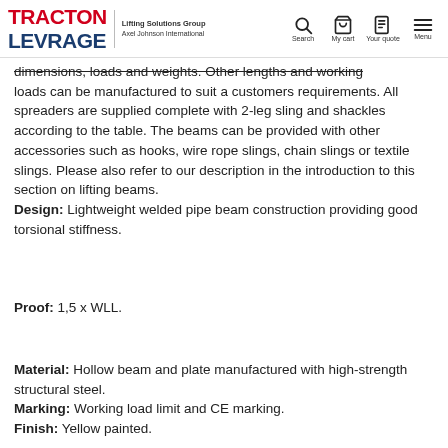TRACTION LEVRAGE | Lifting Solutions Group Axel Johnson International | Search | My cart | Your quote | Menu
dimensions, loads and weights. Other lengths and working loads can be manufactured to suit a customers requirements. All spreaders are supplied complete with 2-leg sling and shackles according to the table. The beams can be provided with other accessories such as hooks, wire rope slings, chain slings or textile slings. Please also refer to our description in the introduction to this section on lifting beams. Design: Lightweight welded pipe beam construction providing good torsional stiffness.
Proof: 1,5 x WLL.
Material: Hollow beam and plate manufactured with high-strength structural steel. Marking: Working load limit and CE marking. Finish: Yellow painted.